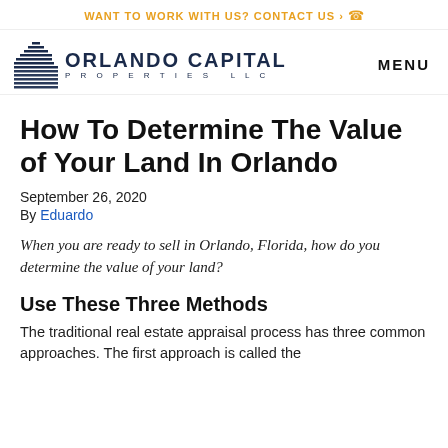WANT TO WORK WITH US? CONTACT US ›
[Figure (logo): Orlando Capital Properties LLC logo with stylized building icon]
How To Determine The Value of Your Land In Orlando
September 26, 2020
By Eduardo
When you are ready to sell in Orlando, Florida, how do you determine the value of your land?
Use These Three Methods
The traditional real estate appraisal process has three common approaches. The first approach is called the